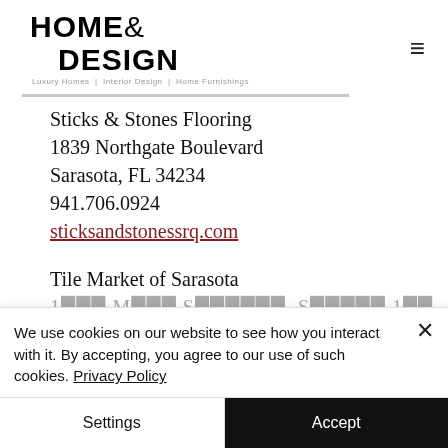HOME& DESIGN — Luxury Homes | Interior Design | Home Furnishings
Sticks & Stones Flooring
1839 Northgate Boulevard
Sarasota, FL 34234
941.706.0924
sticksandstonessrq.com
Tile Market of Sarasota
We use cookies on our website to see how you interact with it. By accepting, you agree to our use of such cookies. Privacy Policy
Settings
Accept